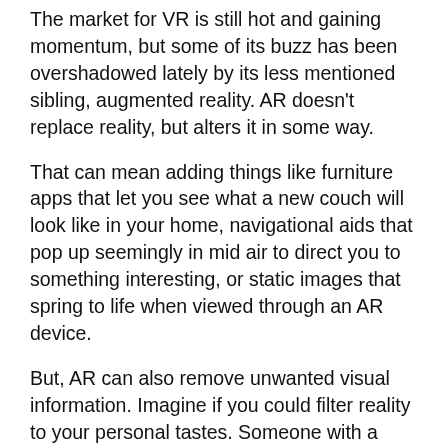The market for VR is still hot and gaining momentum, but some of its buzz has been overshadowed lately by its less mentioned sibling, augmented reality. AR doesn't replace reality, but alters it in some way.
That can mean adding things like furniture apps that let you see what a new couch will look like in your home, navigational aids that pop up seemingly in mid air to direct you to something interesting, or static images that spring to life when viewed through an AR device.
But, AR can also remove unwanted visual information. Imagine if you could filter reality to your personal tastes. Someone with a food allergy could walk into the grocery store and block out all the products they can't use, permitting them to focus on the things that might actually entice them.
Personalization has long been a dream of marketers